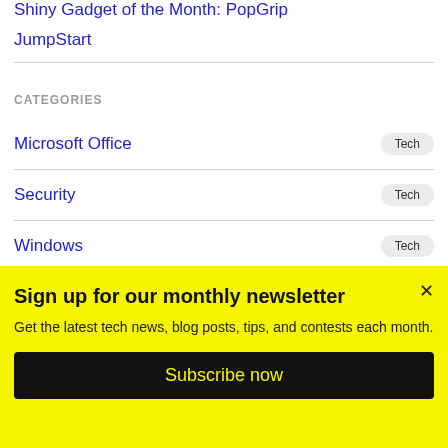Shiny Gadget of the Month: PopGrip
JumpStart
CATEGORIES
Microsoft Office  Tech
Security  Tech
Windows  Tech
Sign up for our monthly newsletter
Get the latest tech news, blog posts, tips, and contests each month.
Subscribe now